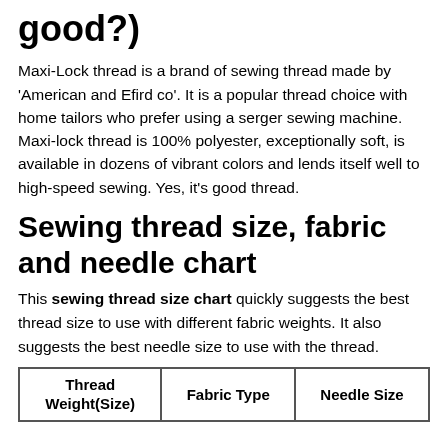good?)
Maxi-Lock thread is a brand of sewing thread made by 'American and Efird co'. It is a popular thread choice with home tailors who prefer using a serger sewing machine. Maxi-lock thread is 100% polyester, exceptionally soft, is available in dozens of vibrant colors and lends itself well to high-speed sewing. Yes, it's good thread.
Sewing thread size, fabric and needle chart
This sewing thread size chart quickly suggests the best thread size to use with different fabric weights. It also suggests the best needle size to use with the thread.
| Thread Weight(Size) | Fabric Type | Needle Size |
| --- | --- | --- |